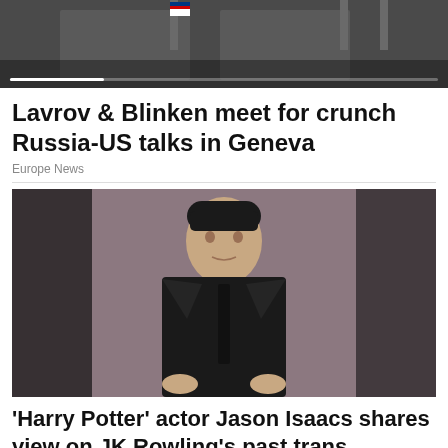[Figure (photo): Top banner photo showing two figures at a podium with flags in the background, partially visible, with a white progress bar overlay at the bottom]
Lavrov & Blinken meet for crunch Russia-US talks in Geneva
Europe News
[Figure (photo): Portrait photo of actor Jason Isaacs wearing a black suit and black tie, posing against a muted purple-grey background]
'Harry Potter' actor Jason Isaacs shares view on JK Rowling's past trans comments